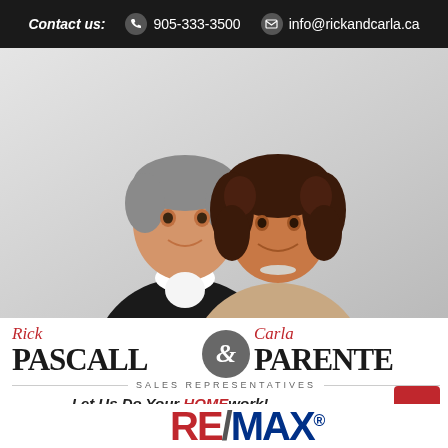Contact us: 905-333-3500  info@rickandcarla.ca
[Figure (photo): Professional headshot photo of Rick Pascall and Carla Parente, a man and woman smiling, set against a light grey background]
Rick PASCALL & Carla PARENTE – SALES REPRESENTATIVES
Let Us Do Your HOMEwork!
Have a Question?